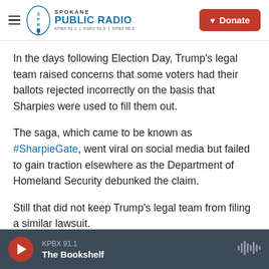Spokane Public Radio — KPBX 91.1 | KSFC 91.9 | KPBZ 90.3 — Donate
In the days following Election Day, Trump's legal team raised concerns that some voters had their ballots rejected incorrectly on the basis that Sharpies were used to fill them out.
The saga, which came to be known as #SharpieGate, went viral on social media but failed to gain traction elsewhere as the Department of Homeland Security debunked the claim.
Still that did not keep Trump's legal team from filing a similar lawsuit.
KPBX 91.1 — The Bookshelf